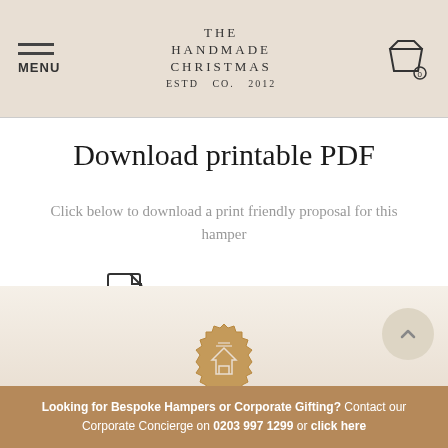MENU | THE HANDMADE CHRISTMAS CO. ESTD 2012 | Cart 0
Download printable PDF
Click below to download a print friendly proposal for this hamper
Download printable PDF
[Figure (logo): Decorative badge/stamp with house icon]
Looking for Bespoke Hampers or Corporate Gifting? Contact our Corporate Concierge on 0203 997 1299 or click here